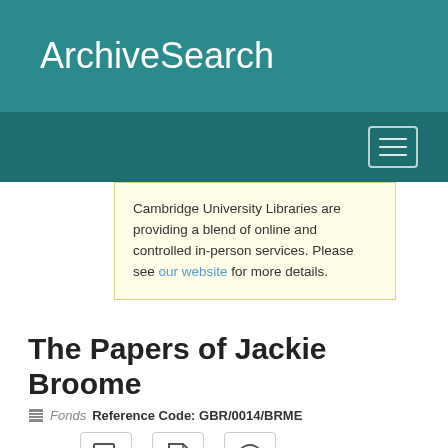ArchiveSearch
Cambridge University Libraries are providing a blend of online and controlled in-person services. Please see our website for more details.
The Papers of Jackie Broome
Fonds Reference Code: GBR/0014/BRME